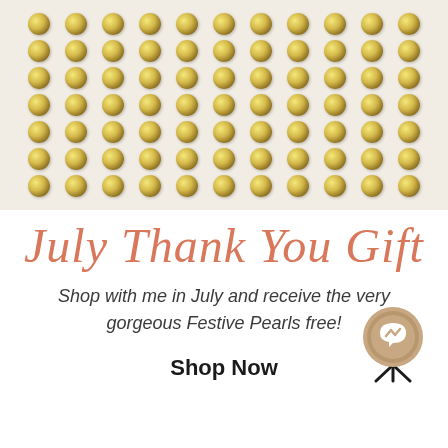[Figure (photo): Close-up photo of rows of gold metallic pearl/stud embellishments arranged in a grid pattern on a light cream/beige background fabric or sheet.]
July Thank You Gift
Shop with me in July and receive the very gorgeous Festive Pearls free!
Shop Now
[Figure (logo): Facebook Messenger circular icon with a wavy arrow/lightning bolt symbol, shown as a round badge with a brown/tan background and dark tripod-like stand underneath.]